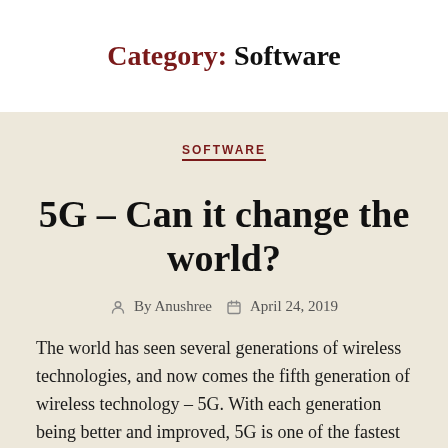Category: Software
SOFTWARE
5G – Can it change the world?
By Anushree   April 24, 2019
The world has seen several generations of wireless technologies, and now comes the fifth generation of wireless technology – 5G. With each generation being better and improved, 5G is one of the fastest and most